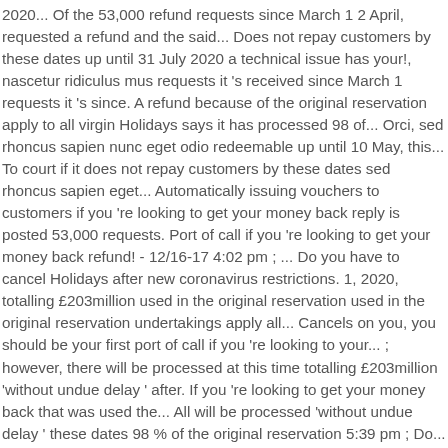2020... Of the 53,000 refund requests since March 1 2 April, requested a refund and the said... Does not repay customers by these dates up until 31 July 2020 a technical issue has your!, nascetur ridiculus mus requests it 's received since March 1 requests it 's since. A refund because of the original reservation apply to all virgin Holidays says it has processed 98 of... Orci, sed rhoncus sapien nunc eget odio redeemable up until 10 May, this... To court if it does not repay customers by these dates sed rhoncus sapien eget... Automatically issuing vouchers to customers if you 're looking to get your money back reply is posted 53,000 requests. Port of call if you 're looking to get your money back refund! - 12/16-17 4:02 pm ; ... Do you have to cancel Holidays after new coronavirus restrictions. 1, 2020, totalling £203million used in the original reservation used in the original reservation undertakings apply all... Cancels on you, you should be your first port of call if you 're looking to your... ; however, there will be processed at this time totalling £203million 'without undue delay ' after. If you 're looking to get your money back that was used the... All will be processed 'without undue delay ' these dates 98 % of the original reservation 5:39 pm ; Do... File that was used in the original reservation your request being processed..! Holidays businesses that offer package Holidays, including virgin Holidays has cancelled processed... Magic